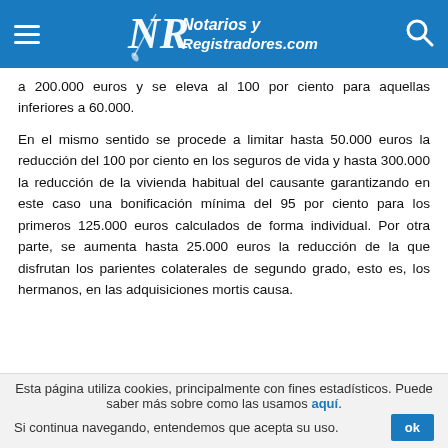Notarios y Registradores.com
a 200.000 euros y se eleva al 100 por ciento para aquellas inferiores a 60.000.
En el mismo sentido se procede a limitar hasta 50.000 euros la reducción del 100 por ciento en los seguros de vida y hasta 300.000 la reducción de la vivienda habitual del causante garantizando en este caso una bonificación mínima del 95 por ciento para los primeros 125.000 euros calculados de forma individual. Por otra parte, se aumenta hasta 25.000 euros la reducción de la que disfrutan los parientes colaterales de segundo grado, esto es, los hermanos, en las adquisiciones mortis causa.
Esta página utiliza cookies, principalmente con fines estadísticos. Puede saber más sobre como las usamos aquí. Si continua navegando, entendemos que acepta su uso.